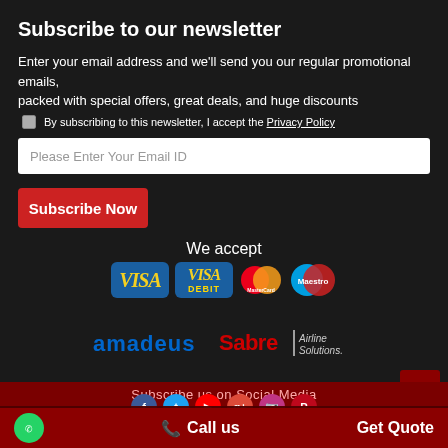Subscribe to our newsletter
Enter your email address and we'll send you our regular promotional emails, packed with special offers, great deals, and huge discounts
By subscribing to this newsletter, I accept the Privacy Policy
Please Enter Your Email ID
Subscribe Now
We accept
[Figure (logo): Payment logos: VISA, VISA DEBIT, MasterCard, Maestro]
[Figure (logo): Partner logos: Amadeus, Sabre Airline Solutions]
Subscribe us on Social Media
[Figure (logo): Social media icons: Facebook, Twitter, YouTube, Google+, Instagram, Pinterest]
This website uses cookies. By using this site, you are consenting to our cookie policy. For more on our cookie policy,click here
Call us
Get Quote